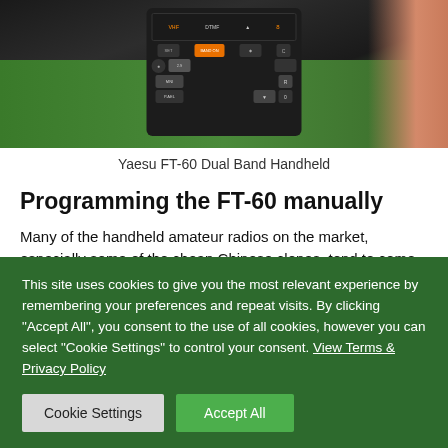[Figure (photo): Close-up photo of a hand holding a Yaesu FT-60 dual band handheld radio against a green outdoor background. The radio's keypad and display are visible.]
Yaesu FT-60 Dual Band Handheld
Programming the FT-60 manually
Many of the handheld amateur radios on the market, especially some of the cheap Chinese clones, tend to come with a) complex on-screen menus, b) poorly-translated manuals, or more usually… c) both. Fortunately, the FT-60 is pretty easy to program, and the
This site uses cookies to give you the most relevant experience by remembering your preferences and repeat visits. By clicking "Accept All", you consent to the use of all cookies, however you can select "Cookie Settings" to control your consent. View Terms & Privacy Policy